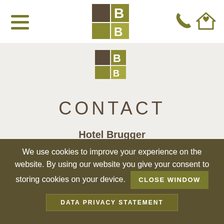[Figure (logo): Hotel Brugger logo: grid of colored squares with letter B, shown in navigation bar]
[Figure (logo): Hotel Brugger secondary logo below nav bar]
CONTACT
Hotel Brugger
Arrive . Relax . Enjoy
We use cookies to improve your experience on the website. By using our website you give your consent to storing cookies on your device. CLOSE WINDOW DATA PRIVACY STATEMENT